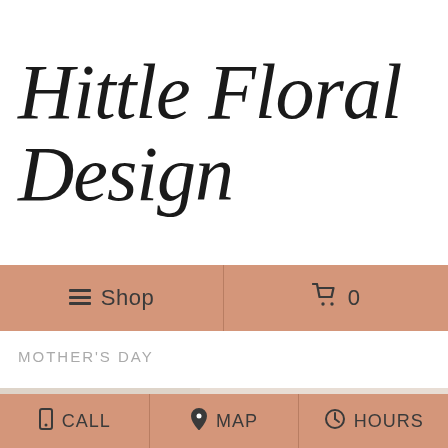Hittle Floral Design
≡ Shop | 🛒 0
MOTHER'S DAY
[Figure (photo): Pink stargazer lily flowers close-up photograph]
CALL | MAP | HOURS